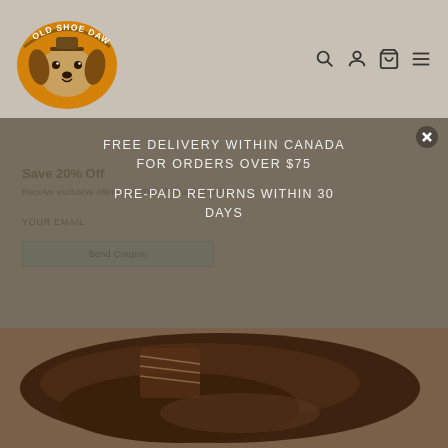[Figure (logo): Old Shoe Dawg logo — basset hound dog face in an oval with text 'OLD SHOE DAWG' arched above]
[Figure (screenshot): Navigation icons: search magnifying glass, user/log in person icon, shopping cart bag, and hamburger menu]
FREE DELIVERY WITHIN CANADA FOR ORDERS OVER $75
PRE-PAID RETURNS WITHIN 30 DAYS
Save 20% Off
Receive exclusive offers and 20% off your first order.
YOUR EMAIL
Send Coupon
[Figure (photo): Close-up photo of a dark brown leather dress shoe with laces, viewed from above/side angle]